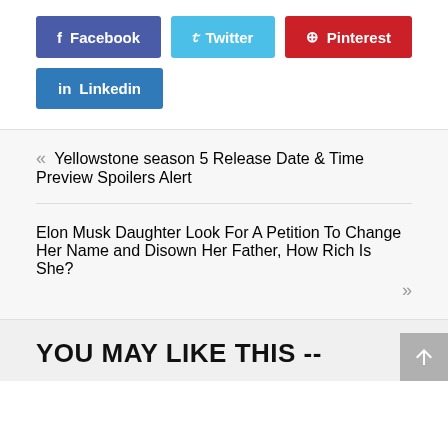f Facebook
Twitter
Pinterest
in Linkedin
« Yellowstone season 5 Release Date & Time Preview Spoilers Alert
Elon Musk Daughter Look For A Petition To Change Her Name and Disown Her Father, How Rich Is She? »
YOU MAY LIKE THIS --